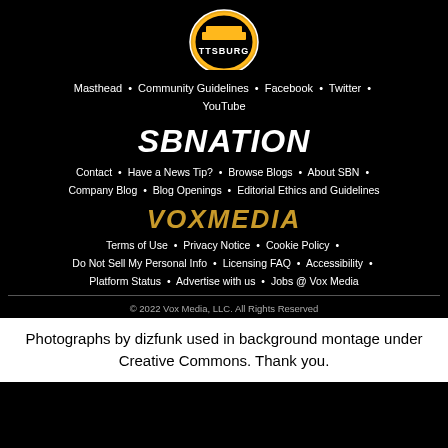[Figure (logo): Pittsburgh Steelers partial logo at top]
Masthead • Community Guidelines • Facebook • Twitter • YouTube
[Figure (logo): SB Nation logo in bold italic white text]
Contact • Have a News Tip? • Browse Blogs • About SBN • Company Blog • Blog Openings • Editorial Ethics and Guidelines
[Figure (logo): Vox Media logo in bold italic gold/amber text]
Terms of Use • Privacy Notice • Cookie Policy • Do Not Sell My Personal Info • Licensing FAQ • Accessibility • Platform Status • Advertise with us • Jobs @ Vox Media
© 2022 Vox Media, LLC. All Rights Reserved
Photographs by dizfunk used in background montage under Creative Commons. Thank you.